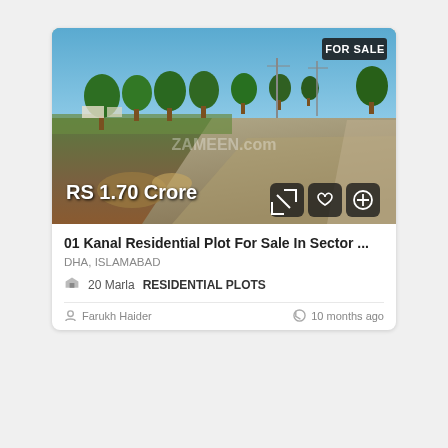[Figure (photo): Outdoor photo of a residential plot area with a paved road, green trees lining the road, open land, and a clear blue sky. A 'FOR SALE' badge is in the top-right corner. Price 'RS 1.70 Crore' shown at bottom-left with action icons.]
01 Kanal Residential Plot For Sale In Sector ...
DHA, ISLAMABAD
20 Marla   RESIDENTIAL PLOTS
Farukh Haider
10 months ago